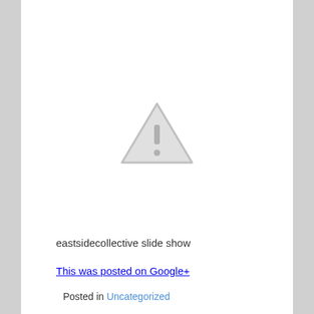[Figure (illustration): Gray warning triangle icon with exclamation mark, indicating missing or unavailable image content]
eastsidecollective slide show
This was posted on Google+
Posted in Uncategorized